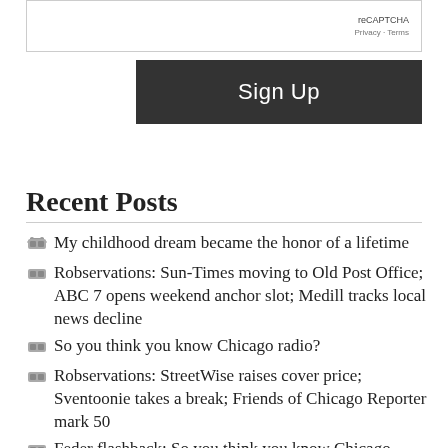[Figure (screenshot): reCAPTCHA widget box with 'reCAPTCHA' label and 'Privacy - Terms' links]
[Figure (screenshot): Dark 'Sign Up' button]
Recent Posts
My childhood dream became the honor of a lifetime
Robservations: Sun-Times moving to Old Post Office; ABC 7 opens weekend anchor slot; Medill tracks local news decline
So you think you know Chicago radio?
Robservations: StreetWise raises cover price; Sventoonie takes a break; Friends of Chicago Reporter mark 50
Feder flashback: So you think you know Chicago television?